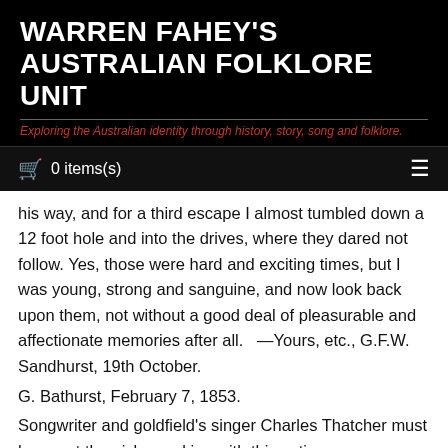WARREN FAHEY'S AUSTRALIAN FOLKLORE UNIT
Exploring the Australian identity through history, story, song and folklore.
0 items(s)
his way, and for a third escape I almost tumbled down a 12 foot hole and into the drives, where they dared not follow. Yes, those were hard and exciting times, but I was young, strong and sanguine, and now look back upon them, not without a good deal of pleasurable and affectionate memories after all.   —Yours, etc., G.F.W. Sandhurst, 19th October.
G. Bathurst, February 7, 1853.
Songwriter and goldfield's singer Charles Thatcher must have set the aisles rocking with this satire on government inefficiency and bumbling. He even dedicates the song to a mythical military character to make sure the boot was firmly placed.